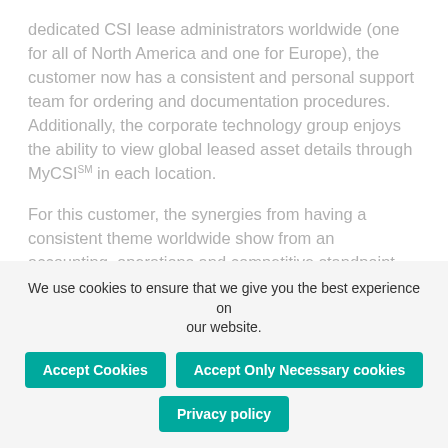dedicated CSI lease administrators worldwide (one for all of North America and one for Europe), the customer now has a consistent and personal support team for ordering and documentation procedures. Additionally, the corporate technology group enjoys the ability to view global leased asset details through MyCSISM in each location.
For this customer, the synergies from having a consistent theme worldwide show from an accounting, operations and competitive standpoint.
Related Stories
We use cookies to ensure that we give you the best experience on our website.
Accept Cookies
Accept Only Necessary cookies
Privacy policy